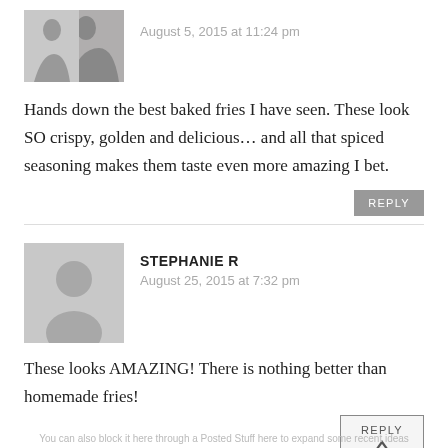[Figure (photo): Black and white photo of a person, partially visible, cropped at top-left as avatar]
August 5, 2015 at 11:24 pm
Hands down the best baked fries I have seen. These look SO crispy, golden and delicious… and all that spiced seasoning makes them taste even more amazing I bet.
REPLY
[Figure (illustration): Gray silhouette placeholder avatar icon for user Stephanie R]
STEPHANIE R
August 25, 2015 at 7:32 pm
These looks AMAZING! There is nothing better than homemade fries!
REPLY
SHARE YOUR THOUGHTS